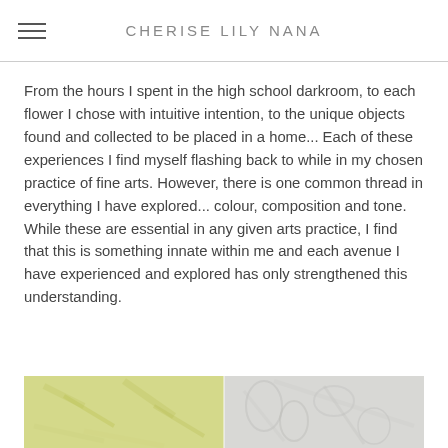CHERISE LILY NANA
From the hours I spent in the high school darkroom, to each flower I chose with intuitive intention, to the unique objects found and collected to be placed in a home... Each of these experiences I find myself flashing back to while in my chosen practice of fine arts. However, there is one common thread in everything I have explored... colour, composition and tone. While these are essential in any given arts practice, I find that this is something innate within me and each avenue I have experienced and explored has only strengthened this understanding.
[Figure (photo): Partial view of two paintings side by side — left panel is yellow-green toned, right panel is grey-white toned with faint floral or figure motifs]